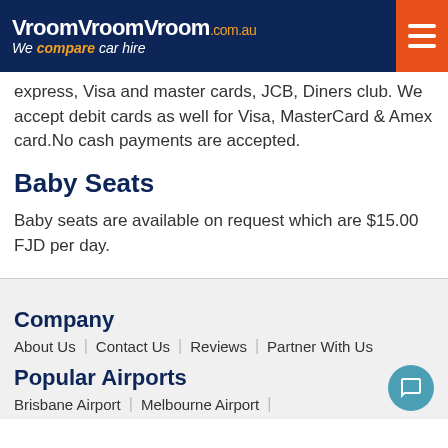VroomVroomVroom.com.au — We compare car hire
express, Visa and master cards, JCB, Diners club. We accept debit cards as well for Visa, MasterCard & Amex card.No cash payments are accepted.
Baby Seats
Baby seats are available on request which are $15.00 FJD per day.
Company
About Us | Contact Us | Reviews | Partner With Us
Popular Airports
Brisbane Airport | Melbourne Airport |